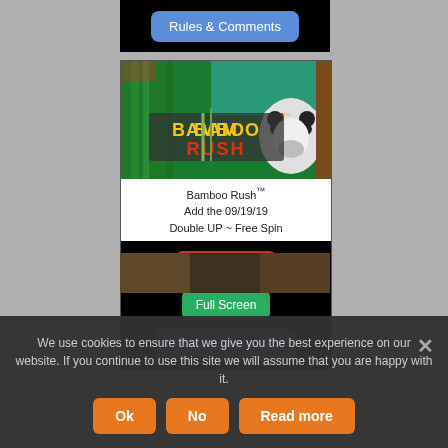Rules & Comments
[Figure (screenshot): Bamboo Rush slot game promotional image showing panda and bamboo forest with stylized logo text]
Bamboo Rush™
Add the 09/19/19
Double UP ~ Free Spin
Normal Game
Full Screen
Rules & Comments
[Figure (screenshot): Partial view of another game teaser image at bottom]
We use cookies to ensure that we give you the best experience on our website. If you continue to use this site we will assume that you are happy with it.
Ok
No
Read more